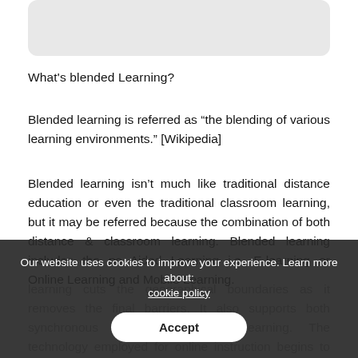[Figure (other): Gray rounded rectangle box at top of page]
What's blended Learning?
Blended learning is referred as “the blending of various learning environments.” [Wikipedia]
Blended learning isn’t much like traditional distance education or even the traditional classroom learning, but it may be referred because the combination of both distance & classroom learning. Blended learning includes the pc Aided Learning i.e. E-learning or Online Learning and Mobile Learning.
learning cuts the geographical boundaries as it removes the final barriers. It also supports both synchronous and asynchronous learning. The technology employed for online instruction begins to an accelerated study
Our website uses cookies to improve your experience. Learn more about: cookie policy  Accept